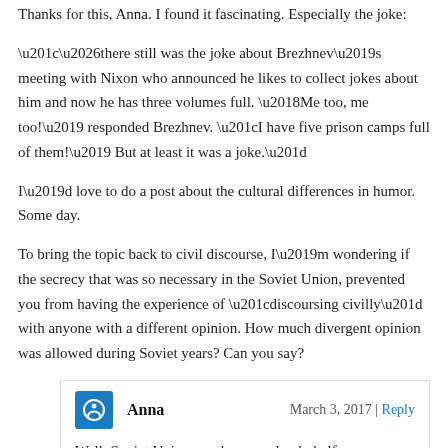Thanks for this, Anna. I found it fascinating. Especially the joke:
“…there still was the joke about Brezhnev’s meeting with Nixon who announced he likes to collect jokes about him and now he has three volumes full. ‘Me too, me too!’ responded Brezhnev. “I have five prison camps full of them!’ But at least it was a joke.”
I’d love to do a post about the cultural differences in humor. Some day.
To bring the topic back to civil discourse, I’m wondering if the secrecy that was so necessary in the Soviet Union, prevented you from having the experience of “discoursing civilly” with anyone with a different opinion. How much divergent opinion was allowed during Soviet years? Can you say?
Anna
March 3, 2017 | Reply
Well, Soviet Union was huge, and only half were Russians. So huge national and cultural differences, and I can only talk from my POV.